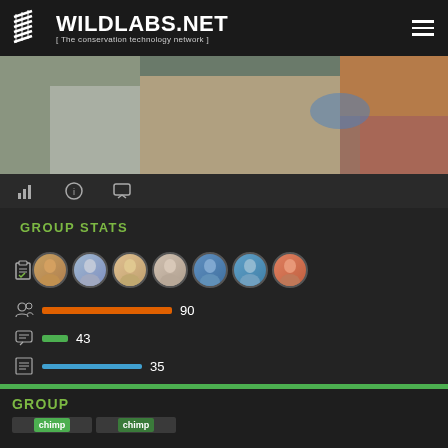WILDLABS.NET [ The conservation technology network ]
[Figure (photo): Photo strip showing people working with equipment, hands with blue gloves visible, colorful background]
[Figure (infographic): Group stats panel with avatar photos of 7 members, stats showing 90 members (orange bar), 43 discussions (green bar), 35 posts (blue bar)]
GROUP STATS
90
43
35
GROUP
[Figure (screenshot): Bottom card showing GROUP label with chimp tags]